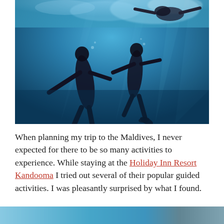[Figure (photo): Underwater photograph of two snorkelers/divers in dark wetsuits swimming in vivid blue ocean water, viewed from below. A third person appears near the water surface in the upper right.]
When planning my trip to the Maldives, I never expected for there to be so many activities to experience. While staying at the Holiday Inn Resort Kandooma I tried out several of their popular guided activities. I was pleasantly surprised by what I found.
[Figure (photo): Partial bottom strip of another photograph, partially cropped at the bottom of the page.]